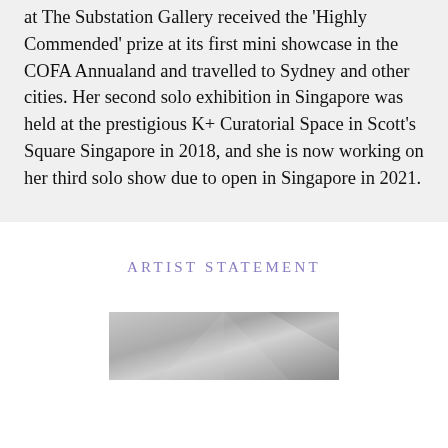at The Substation Gallery received the 'Highly Commended' prize at its first mini showcase in the COFA Annualand and travelled to Sydney and other cities. Her second solo exhibition in Singapore was held at the prestigious K+ Curatorial Space in Scott's Square Singapore in 2018, and she is now working on her third solo show due to open in Singapore in 2021.
ARTIST STATEMENT
[Figure (photo): Grayscale photo partially visible at the bottom of the page, showing abstract geometric shapes or interior architecture in grey tones.]